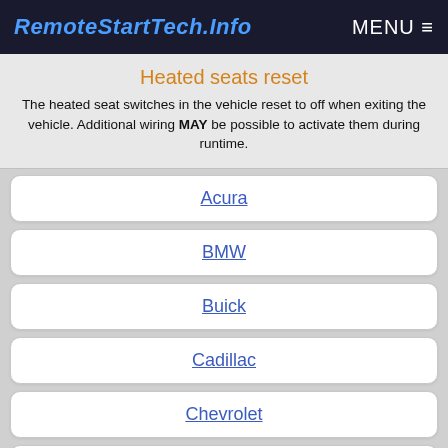RemoteStartTech.Info  MENU
Heated seats reset
The heated seat switches in the vehicle reset to off when exiting the vehicle. Additional wiring MAY be possible to activate them during runtime.
Acura
BMW
Buick
Cadillac
Chevrolet
Chrysler
Dodge